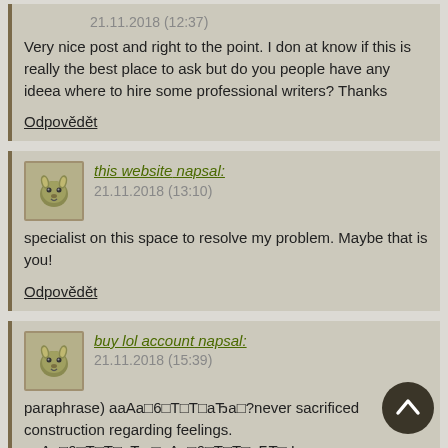21.11.2018 (12:37)
Very nice post and right to the point. I don at know if this is really the best place to ask but do you people have any ideea where to hire some professional writers? Thanks
Odpovědět
this website napsal: 21.11.2018 (13:10)
specialist on this space to resolve my problem. Maybe that is you!
Odpovědět
buy lol account napsal: 21.11.2018 (15:39)
paraphrase) aaAa□6□T□T□aЂa□?never sacrificed construction regarding feelings. aaAa□6□T□T□aЂa□aAa□6□T□T□aБT□ In any